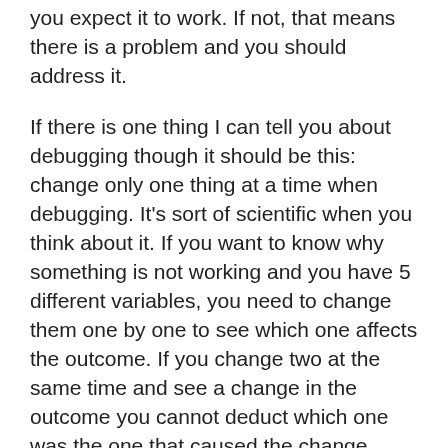you expect it to work. If not, that means there is a problem and you should address it.
If there is one thing I can tell you about debugging though it should be this: change only one thing at a time when debugging. It's sort of scientific when you think about it. If you want to know why something is not working and you have 5 different variables, you need to change them one by one to see which one affects the outcome. If you change two at the same time and see a change in the outcome you cannot deduct which one was the one that caused the change. Sounds simple but many new data scientists make the mistake of being too eager to fix the mistake and in return making their debugging last longer.